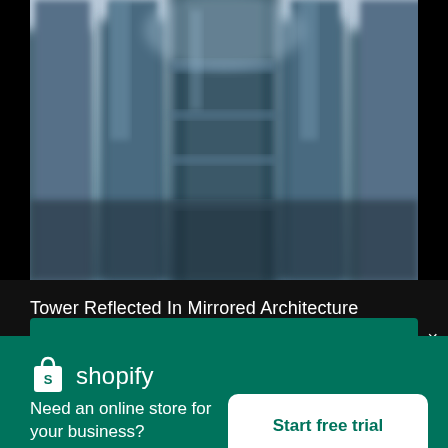[Figure (photo): Blurred architectural photo of a glass and steel tower reflected in mirrored building facade, shot from below looking up, blue-gray tones]
Tower Reflected In Mirrored Architecture
High resolution download ↓
[Figure (logo): Shopify logo — white shopping bag icon with 'S' and white text 'shopify']
Need an online store for your business?
Start free trial